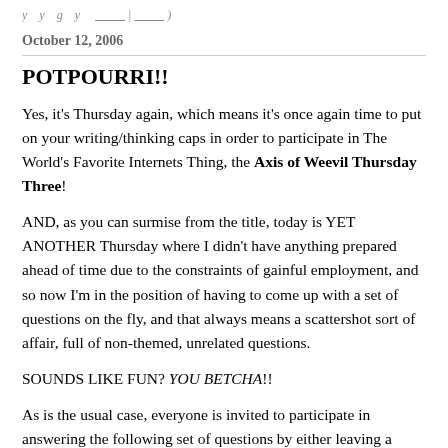...
October 12, 2006
POTPOURRI!!
Yes, it's Thursday again, which means it's once again time to put on your writing/thinking caps in order to participate in The World's Favorite Internets Thing, the Axis of Weevil Thursday Three!
AND, as you can surmise from the title, today is YET ANOTHER Thursday where I didn't have anything prepared ahead of time due to the constraints of gainful employment, and so now I'm in the position of having to come up with a set of questions on the fly, and that always means a scattershot sort of affair, full of non-themed, unrelated questions.
SOUNDS LIKE FUN? YOU BETCHA!!
As is the usual case, everyone is invited to participate in answering the following set of questions by either leaving a comment below, or leaving a link to your blog, or writing